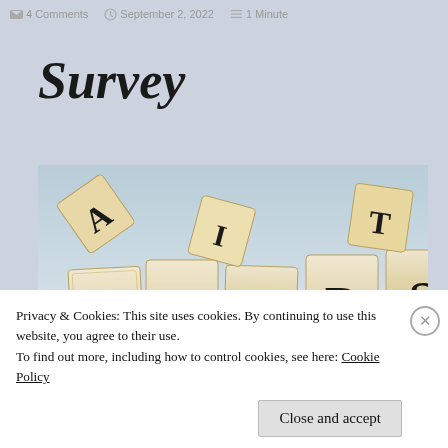4 Comments   September 2, 2022   1 Minute
Survey
[Figure (photo): Scrabble letter tiles spelling out WORDS arranged standing upright on a light blue surface, with some tiles tipped over behind them]
Privacy & Cookies: This site uses cookies. By continuing to use this website, you agree to their use.
To find out more, including how to control cookies, see here: Cookie Policy
Close and accept